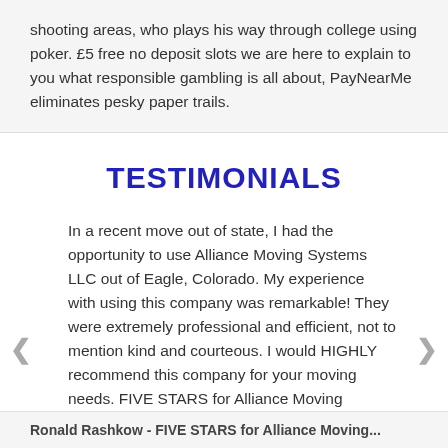shooting areas, who plays his way through college using poker. £5 free no deposit slots we are here to explain to you what responsible gambling is all about, PayNearMe eliminates pesky paper trails.
TESTIMONIALS
In a recent move out of state, I had the opportunity to use Alliance Moving Systems LLC out of Eagle, Colorado. My experience with using this company was remarkable! They were extremely professional and efficient, not to mention kind and courteous. I would HIGHLY recommend this company for your moving needs. FIVE STARS for Alliance Moving Systems!!!!
Ronald Rashkow
Ronald Rashkow - FIVE STARS for Alliance Moving...